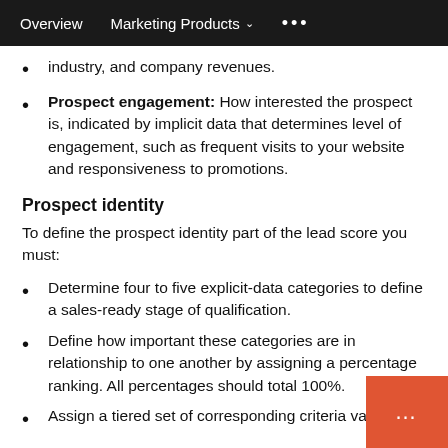Overview   Marketing Products   ...
industry, and company revenues.
Prospect engagement: How interested the prospect is, indicated by implicit data that determines level of engagement, such as frequent visits to your website and responsiveness to promotions.
Prospect identity
To define the prospect identity part of the lead score you must:
Determine four to five explicit-data categories to define a sales-ready stage of qualification.
Define how important these categories are in relationship to one another by assigning a percentage ranking. All percentages should total 100%.
Assign a tiered set of corresponding criteria valu…